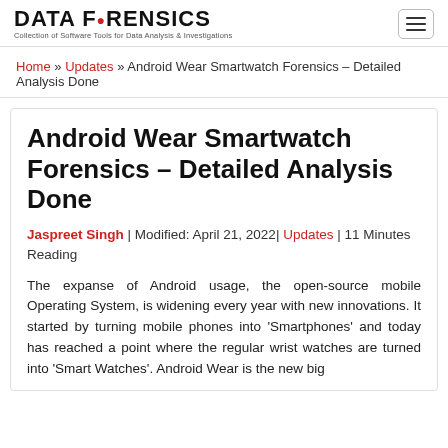DATA FORENSICS — Collection of Software Tools for Data Analysis & Investigations
Home » Updates » Android Wear Smartwatch Forensics – Detailed Analysis Done
Android Wear Smartwatch Forensics – Detailed Analysis Done
Jaspreet Singh | Modified: April 21, 2022| Updates | 11 Minutes Reading
The expanse of Android usage, the open-source mobile Operating System, is widening every year with new innovations. It started by turning mobile phones into 'Smartphones' and today has reached a point where the regular wrist watches are turned into 'Smart Watches'. Android Wear is the new big